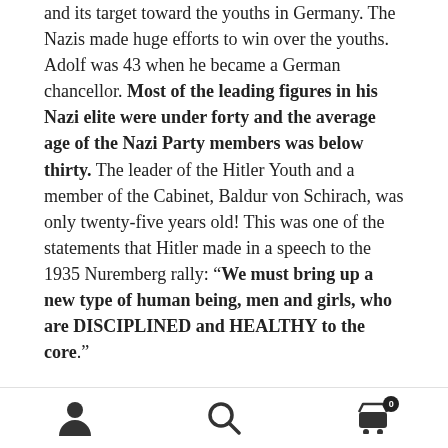and its target toward the youths in Germany. The Nazis made huge efforts to win over the youths. Adolf was 43 when he became a German chancellor. Most of the leading figures in his Nazi elite were under forty and the average age of the Nazi Party members was below thirty. The leader of the Hitler Youth and a member of the Cabinet, Baldur von Schirach, was only twenty-five years old! This was one of the statements that Hitler made in a speech to the 1935 Nuremberg rally: “We must bring up a new type of human being, men and girls, who are DISCIPLINED and HEALTHY to the core.”
Sophie was part of the Hitler Youth and her brother Hans was one of the regional leaders for it. The Hitler Youth can be seen as a stepping stone before the future membership
[person icon] [search icon] [cart icon with badge 0]